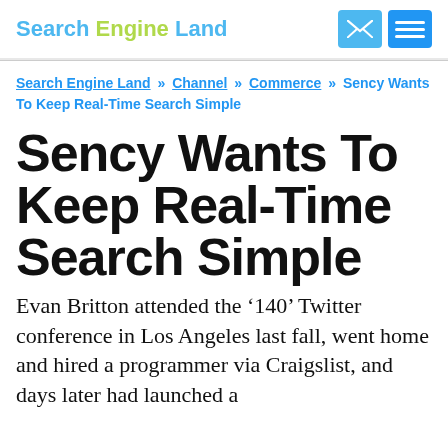Search Engine Land
Search Engine Land » Channel » Commerce » Sency Wants To Keep Real-Time Search Simple
Sency Wants To Keep Real-Time Search Simple
Evan Britton attended the '140' Twitter conference in Los Angeles last fall, went home and hired a programmer via Craigslist, and days later had launched a